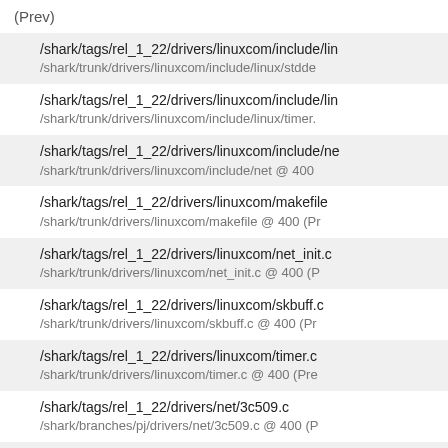(Prev)
/shark/tags/rel_1_22/drivers/linuxcom/include/lin
/shark/trunk/drivers/linuxcom/include/linux/stdde
/shark/tags/rel_1_22/drivers/linuxcom/include/lin
/shark/trunk/drivers/linuxcom/include/linux/timer.
/shark/tags/rel_1_22/drivers/linuxcom/include/ne
/shark/trunk/drivers/linuxcom/include/net @ 400
/shark/tags/rel_1_22/drivers/linuxcom/makefile
/shark/trunk/drivers/linuxcom/makefile @ 400 (Pr
/shark/tags/rel_1_22/drivers/linuxcom/net_init.c
/shark/trunk/drivers/linuxcom/net_init.c @ 400 (P
/shark/tags/rel_1_22/drivers/linuxcom/skbuff.c
/shark/trunk/drivers/linuxcom/skbuff.c @ 400 (Pr
/shark/tags/rel_1_22/drivers/linuxcom/timer.c
/shark/trunk/drivers/linuxcom/timer.c @ 400 (Pre
/shark/tags/rel_1_22/drivers/net/3c509.c
/shark/branches/pj/drivers/net/3c509.c @ 400 (P
/shark/tags/rel_1_22/drivers/net/8390.c
/shark/branches/pj/drivers/net/8390.c @ 400 (Pr
/shark/tags/rel_1_22/drivers/net/netbuff.c
/shark/branches/pj/drivers/net/netbuff.c @ 400 (P
/shark/tags/rel_1_22/drivers/net/rtl8139.c
/shark/branches/pj/drivers/net/rtl8139.c @ 400 (P
/shark/tags/rel_1_22/drivers/oldsnd/
/shark/branches/pj/oldsnd @ 400 (Prev)
/shark/tags/rel_1_22/drivers/oldsnd/blaster.h